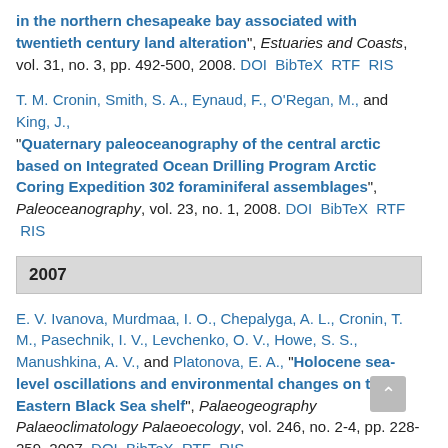in the northern chesapeake bay associated with twentieth century land alteration", Estuaries and Coasts, vol. 31, no. 3, pp. 492-500, 2008. DOI BibTeX RTF RIS
T. M. Cronin, Smith, S. A., Eynaud, F., O'Regan, M., and King, J., "Quaternary paleoceanography of the central arctic based on Integrated Ocean Drilling Program Arctic Coring Expedition 302 foraminiferal assemblages", Paleoceanography, vol. 23, no. 1, 2008. DOI BibTeX RTF RIS
2007
E. V. Ivanova, Murdmaa, I. O., Chepalyga, A. L., Cronin, T. M., Pasechnik, I. V., Levchenko, O. V., Howe, S. S., Manushkina, A. V., and Platonova, E. A., "Holocene sea-level oscillations and environmental changes on the Eastern Black Sea shelf", Palaeogeography Palaeoclimatology Palaeoecology, vol. 246, no. 2-4, pp. 228-259, 2007. DOI BibTeX RTF RIS
D. A. Willard and Cronin, T. M., "Paleoecology and ecosystem restoration: case studies from Chesapeake Bay and the